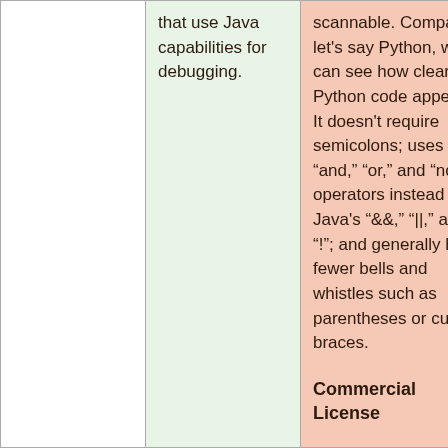|  | that use Java capabilities for debugging. | scannable. Compare to let’s say Python, we can see how clear Python code appears: It doesn’t require semicolons; uses “and,” “or,” and “not” as operators instead of Java’s “&&,” “||,” and “!”; and generally has fewer bells and whistles such as parentheses or curly braces.

Commercial License |